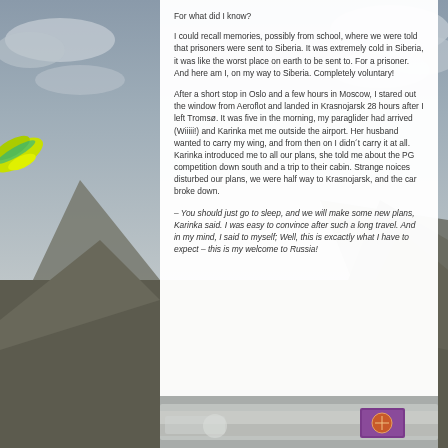[Figure (photo): Background photo showing mountain landscape with cloudy grey sky, and a yellow-green paraglider wing visible on the left edge. The photo appears on the left and right sides of the page behind a white content panel.]
For what did I know?
I could recall memories, possibly from school, where we were told that prisoners were sent to Siberia. It was extremely cold in Siberia, it was like the worst place on earth to be sent to. For a prisoner. And here am I, on my way to Siberia. Completely voluntary!
After a short stop in Oslo and a few hours in Moscow, I stared out the window from Aeroflot and landed in Krasnojarsk 28 hours after I left Tromsø. It was five in the morning, my paraglider had arrived (Wiiiii!) and Karinka met me outside the airport. Her husband wanted to carry my wing, and from then on I didn´t carry it at all. Karinka introduced me to all our plans, she told me about the PG competition down south and a trip to their cabin. Strange noices disturbed our plans, we were half way to Krasnojarsk, and the car broke down.
– You should just go to sleep, and we will make some new plans, Karinka said. I was easy to convince after such a long travel. And in my mind, I said to myself; Well, this is excactly what I have to expect – this is my welcome to Russia!
[Figure (photo): Bottom strip photo showing a view through a car window or similar, with a sign visible on the right side.]